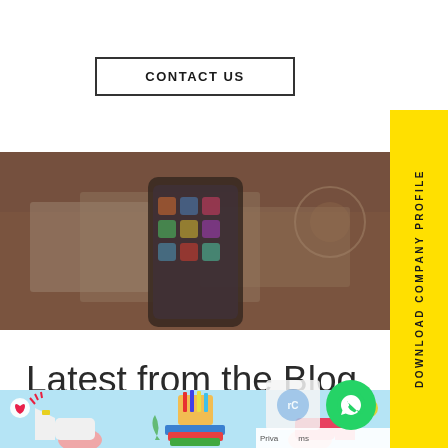CONTACT US
[Figure (photo): Overhead view of a workspace with a smartphone showing apps, papers with wireframe sketches, and design documents on a wooden table with a brown overlay]
Latest from the Blog
[Figure (illustration): Colorful flat illustration on light blue background showing two hands holding megaphones with a heart icon and a pencil cup on a stack of books in the center, representing marketing or social media promotion]
DOWNLOAD COMPANY PROFILE